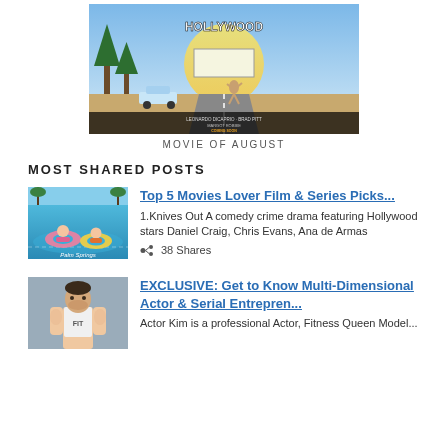[Figure (photo): Movie poster for 'Once Upon a Time in Hollywood' showing the title HOLLYWOOD in large letters, cast credits including Leonardo DiCaprio and Brad Pitt, and colorful Hollywood scene imagery. Bottom text reads COMING SOON.]
MOVIE OF AUGUST
MOST SHARED POSTS
[Figure (photo): Thumbnail image of people floating in a pool on inflatable rings, colorful summer scene for Palm Springs movie.]
Top 5 Movies Lover Film & Series Picks...
1.Knives Out A comedy crime drama featuring Hollywood stars Daniel Craig, Chris Evans, Ana de Armas
38 Shares
[Figure (photo): Thumbnail of a muscular man in a white tank top, promotional photo for an actor profile article.]
EXCLUSIVE: Get to Know Multi-Dimensional Actor & Serial Entrepren...
Actor Kim is a professional Actor, Fitness Queen Model...